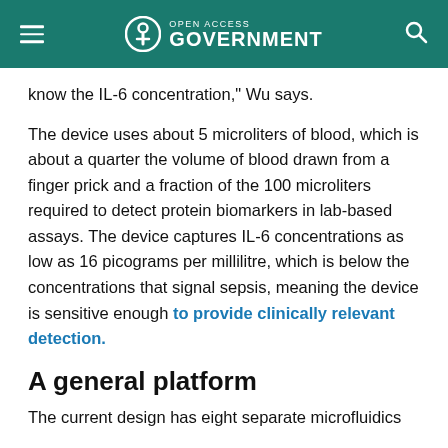Open Access Government
know the IL-6 concentration," Wu says.
The device uses about 5 microliters of blood, which is about a quarter the volume of blood drawn from a finger prick and a fraction of the 100 microliters required to detect protein biomarkers in lab-based assays. The device captures IL-6 concentrations as low as 16 picograms per millilitre, which is below the concentrations that signal sepsis, meaning the device is sensitive enough to provide clinically relevant detection.
A general platform
The current design has eight separate microfluidics